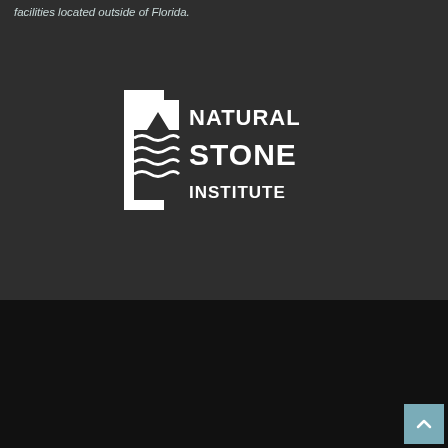facilities located outside of Florida.
[Figure (logo): Natural Stone Institute logo — white icon of layered stone with triangular peak and text 'NATURAL STONE INSTITUTE' on dark background]
© 2021 UMI Stone. All rights reserved.
[Figure (infographic): Row of social media icons: Facebook, Pinterest, Houzz, Twitter, Instagram, YouTube, LinkedIn]